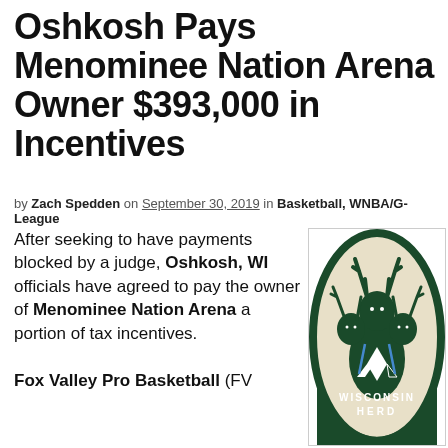Oshkosh Pays Menominee Nation Arena Owner $393,000 in Incentives
by Zach Spedden on September 30, 2019 in Basketball, WNBA/G-League
After seeking to have payments blocked by a judge, Oshkosh, WI officials have agreed to pay the owner of Menominee Nation Arena a portion of tax incentives.
[Figure (logo): Wisconsin Herd NBA G-League team logo showing three deer heads with antlers inside a circular badge with text 'WISCONSIN HERD' and a lightning bolt W symbol]
Fox Valley Pro Basketball (FV